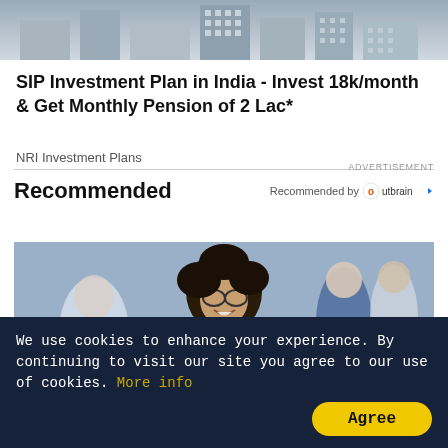[Figure (photo): Building/city illustration with grid-pattern windows on gray background — advertisement image]
SIP Investment Plan in India - Invest 18k/month & Get Monthly Pension of 2 Lac*
NRI Investment Plans
ADVERTISEMENT
Recommended
Recommended by Outbrain
[Figure (photo): Smiling female healthcare worker in scrubs with stethoscope, standing in front of other medical staff in blue scrubs in a hospital corridor]
Women Love These
We use cookies to enhance your experience. By continuing to visit our site you agree to our use of cookies. More info
Agree